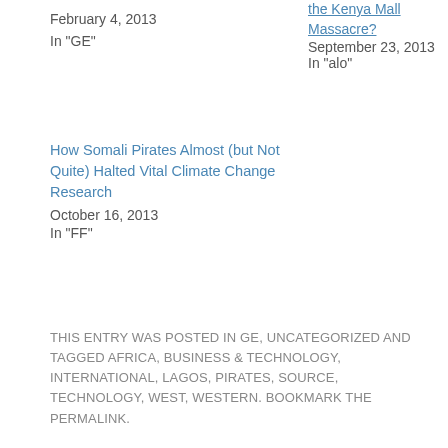February 4, 2013
In "GE"
the Kenya Mall Massacre?
September 23, 2013
In "alo"
How Somali Pirates Almost (but Not Quite) Halted Vital Climate Change Research
October 16, 2013
In "FF"
THIS ENTRY WAS POSTED IN GE, UNCATEGORIZED AND TAGGED AFRICA, BUSINESS & TECHNOLOGY, INTERNATIONAL, LAGOS, PIRATES, SOURCE, TECHNOLOGY, WEST, WESTERN. BOOKMARK THE PERMALINK.
← CAMPAIGN TO LABEL FRANKENFOODS GOES VIRAL
EPA RELEASES 2013 VOLUMETRIC TARGETS FOR THE RENEWABLE FUEL STANDARD →